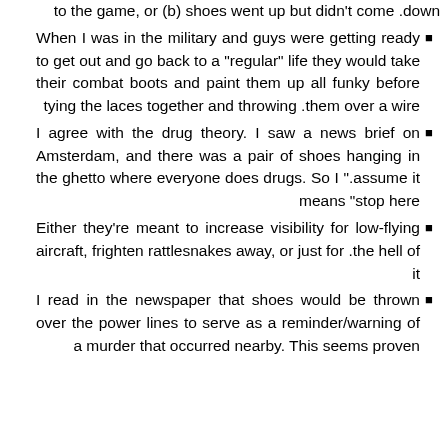to the game, or (b) shoes went up but didn't come down.
When I was in the military and guys were getting ready to get out and go back to a "regular" life they would take their combat boots and paint them up all funky before tying the laces together and throwing them over a wire.
I agree with the drug theory. I saw a news brief on Amsterdam, and there was a pair of shoes hanging in the ghetto where everyone does drugs. So I assume it means "stop here".
Either they're meant to increase visibility for low-flying aircraft, frighten rattlesnakes away, or just for the hell of it.
I read in the newspaper that shoes would be thrown over the power lines to serve as a reminder/warning of a murder that occurred nearby. This seems proven